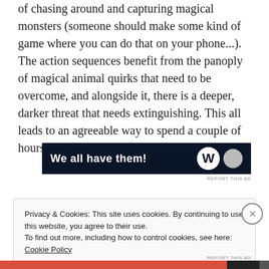of chasing around and capturing magical monsters (someone should make some kind of game where you can do that on your phone...). The action sequences benefit from the panoply of magical animal quirks that need to be overcome, and alongside it, there is a deeper, darker threat that needs extinguishing. This all leads to an agreeable way to spend a couple of hours of your viewing life.
[Figure (other): Advertisement banner with dark navy background showing text 'We all have them!' with a logo on the right side]
Privacy & Cookies: This site uses cookies. By continuing to use this website, you agree to their use.
To find out more, including how to control cookies, see here: Cookie Policy
Close and accept